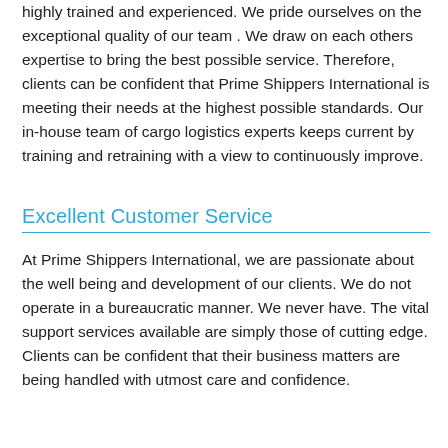highly trained and experienced. We pride ourselves on the exceptional quality of our team . We draw on each others expertise to bring the best possible service. Therefore, clients can be confident that Prime Shippers International is meeting their needs at the highest possible standards. Our in-house team of cargo logistics experts keeps current by training and retraining with a view to continuously improve.
Excellent Customer Service
At Prime Shippers International, we are passionate about the well being and development of our clients. We do not operate in a bureaucratic manner. We never have. The vital support services available are simply those of cutting edge. Clients can be confident that their business matters are being handled with utmost care and confidence.